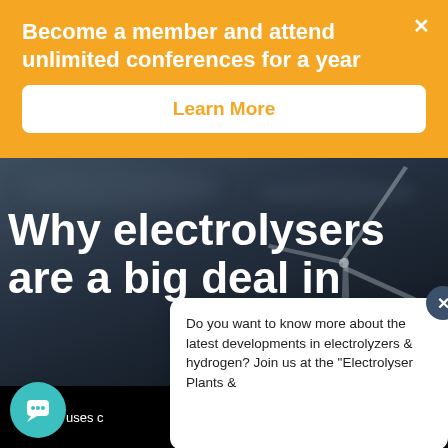Become a member and attend unlimited conferences for a year
Learn More
[Figure (photo): Dark moody photo of wind turbines against a cloudy sky at dusk]
Why electrolysers are a big deal in
This site uses c
Do you want to know more about the latest developments in electrolyzers & hydrogen? Join us at the "Electrolyser Plants &